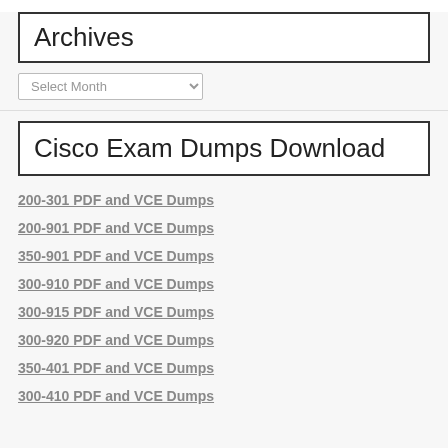Archives
Select Month
Cisco Exam Dumps Download
200-301 PDF and VCE Dumps
200-901 PDF and VCE Dumps
350-901 PDF and VCE Dumps
300-910 PDF and VCE Dumps
300-915 PDF and VCE Dumps
300-920 PDF and VCE Dumps
350-401 PDF and VCE Dumps
300-410 PDF and VCE Dumps